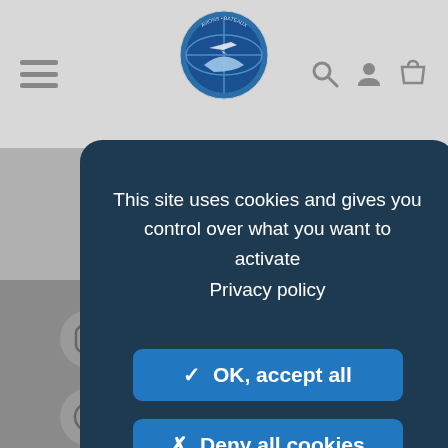[Figure (screenshot): Website header with hamburger menu icon on left, Avions Bateaux circular logo in center, and search/user/cart icons on right, on a light gray background]
This site uses cookies and gives you control over what you want to activate
Privacy policy
✓ OK, accept all
✗ Deny all cookies
Personalize
Follow us on Instagram
Follow us on Pinterest